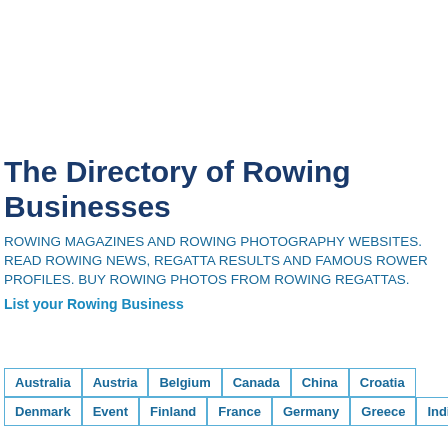The Directory of Rowing Businesses
ROWING MAGAZINES AND ROWING PHOTOGRAPHY WEBSITES. READ ROWING NEWS, REGATTA RESULTS AND FAMOUS ROWER PROFILES. BUY ROWING PHOTOS FROM ROWING REGATTAS.
List your Rowing Business
Australia
Austria
Belgium
Canada
China
Croatia
Denmark
Event
Finland
France
Germany
Greece
India